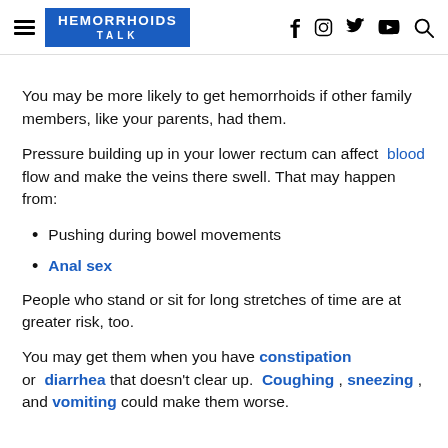HEMORRHOIDS TALK — navigation header with social icons
You may be more likely to get hemorrhoids if other family members, like your parents, had them.
Pressure building up in your lower rectum can affect blood flow and make the veins there swell. That may happen from:
Pushing during bowel movements
Anal sex
People who stand or sit for long stretches of time are at greater risk, too.
You may get them when you have constipation or diarrhea that doesn't clear up. Coughing, sneezing, and vomiting could make them worse.